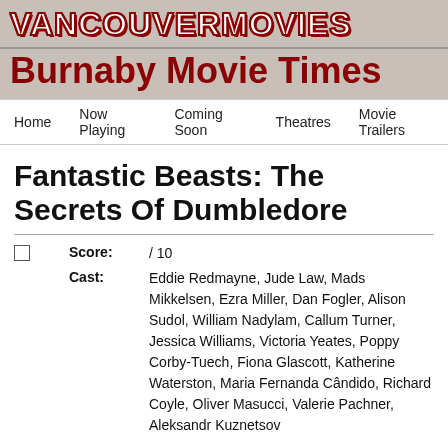VANCOUVERMOVIES
Burnaby Movie Times
Home | Now Playing | Coming Soon | Theatres | Movie Trailers
Fantastic Beasts: The Secrets Of Dumbledore
Score: / 10
Cast: Eddie Redmayne, Jude Law, Mads Mikkelsen, Ezra Miller, Dan Fogler, Alison Sudol, William Nadylam, Callum Turner, Jessica Williams, Victoria Yeates, Poppy Corby-Tuech, Fiona Glascott, Katherine Waterston, Maria Fernanda Cândido, Richard Coyle, Oliver Masucci, Valerie Pachner, Aleksandr Kuznetsov